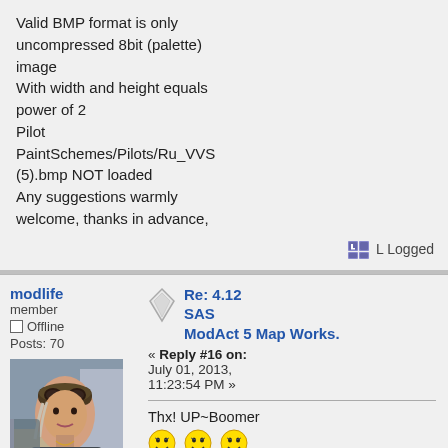Valid BMP format is only uncompressed 8bit (palette) image
With width and height equals power of 2
Pilot PaintSchemes/Pilots/Ru_VVS (5).bmp NOT loaded
Any suggestions warmly welcome, thanks in advance,
Logged
modlife
member
Offline
Posts: 70
Re: 4.12 SAS ModAct 5 Map Works.
« Reply #16 on: July 01, 2013, 11:23:54 PM »
Thx!  UP~Boomer
Logged